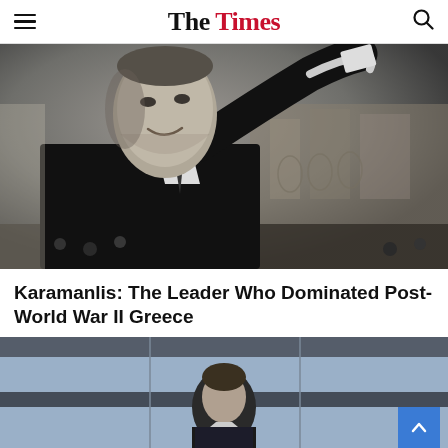The Times
[Figure (photo): Black and white photograph of Karamanlis raising his arm at a podium with microphones, smiling, with a crowd and buildings visible in the background.]
Karamanlis: The Leader Who Dominated Post-World War II Greece
[Figure (photo): Partial color photo of a man in a suit, bottom portion of page, cropped.]